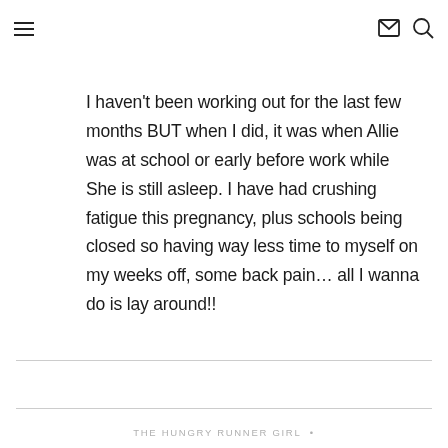≡ ✉ 🔍
I haven't been working out for the last few months BUT when I did, it was when Allie was at school or early before work while She is still asleep. I have had crushing fatigue this pregnancy, plus schools being closed so having way less time to myself on my weeks off, some back pain… all I wanna do is lay around!!
THE HUNGRY RUNNER GIRL  •